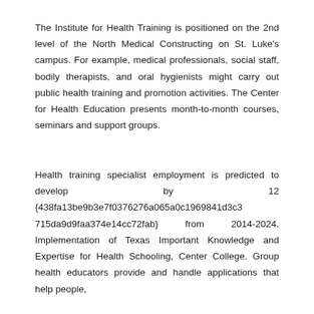The Institute for Health Training is positioned on the 2nd level of the North Medical Constructing on St. Luke's campus. For example, medical professionals, social staff, bodily therapists, and oral hygienists might carry out public health training and promotion activities. The Center for Health Education presents month-to-month courses, seminars and support groups.
Health training specialist employment is predicted to develop by 12 {438fa13be9b3e7f0376276a065a0c1969841d3c3715da9d9faa374e14cc72fab} from 2014-2024. Implementation of Texas Important Knowledge and Expertise for Health Schooling, Center College. Group health educators provide and handle applications that help people,